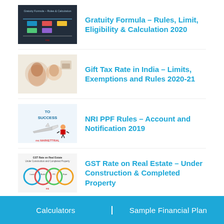Gratuity Formula – Rules, Limit, Eligibility & Calculation 2020
Gift Tax Rate in India – Limits, Exemptions and Rules 2020-21
NRI PPF Rules – Account and Notification 2019
GST Rate on Real Estate – Under Construction & Completed Property
Should I Surrender My Jeevan Anand Policy from LIC?
Calculators    Sample Financial Plan